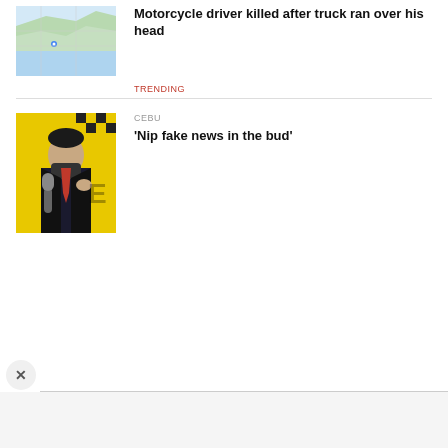[Figure (photo): Map thumbnail showing a coastal area]
Motorcycle driver killed after truck ran over his head
TRENDING
[Figure (photo): Man in suit wearing face mask speaking at podium with yellow background]
CEBU
'Nip fake news in the bud'